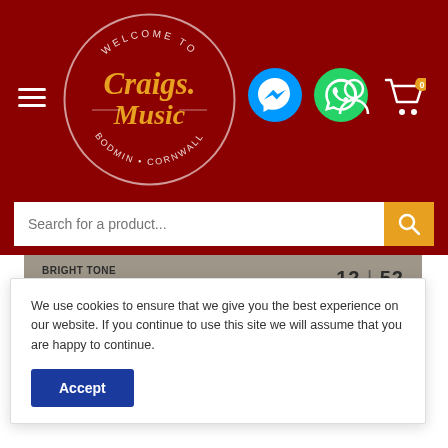[Figure (screenshot): Craigs Music website header with dark red background, circular logo reading 'Welcome to Craigs Music Bodmin Cornwall', hamburger menu icon, Facebook Messenger icon, WhatsApp icon, user account icon, shopping cart icon with 0 badge]
[Figure (screenshot): Search bar with placeholder text 'Search for a product...' and yellow search button on dark red background]
[Figure (photo): Product image showing guitar strings packaging labeled 'Bright Tone Semi-Flat Wound' with gauge 12|52, featuring blue oval design with partial text 'E BOU' visible]
We use cookies to ensure that we give you the best experience on our website. If you continue to use this site we will assume that you are happy to continue.
Accept